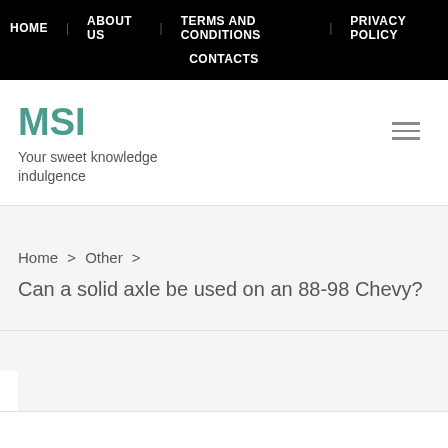HOME  ABOUT US  TERMS AND CONDITIONS  PRIVACY POLICY  CONTACTS
MSI
Your sweet knowledge indulgence
Home > Other > Can a solid axle be used on an 88-98 Chevy?